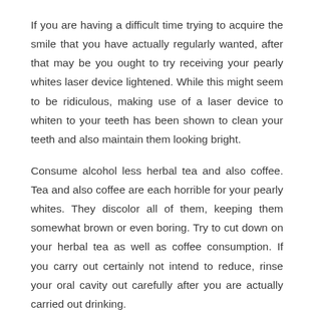If you are having a difficult time trying to acquire the smile that you have actually regularly wanted, after that may be you ought to try receiving your pearly whites laser device lightened. While this might seem to be ridiculous, making use of a laser device to whiten to your teeth has been shown to clean your teeth and also maintain them looking bright.
Consume alcohol less herbal tea and also coffee. Tea and also coffee are each horrible for your pearly whites. They discolor all of them, keeping them somewhat brown or even boring. Try to cut down on your herbal tea as well as coffee consumption. If you carry out certainly not intend to reduce, rinse your oral cavity out carefully after you are actually carried out drinking.
Practice great dental cleanliness to lighten your teeth and keep your smile intense. Comb your pearly whites at the very least twice a day and also uses floss frequently to clear away meals particles that become caught in between all of them. Taking good care from